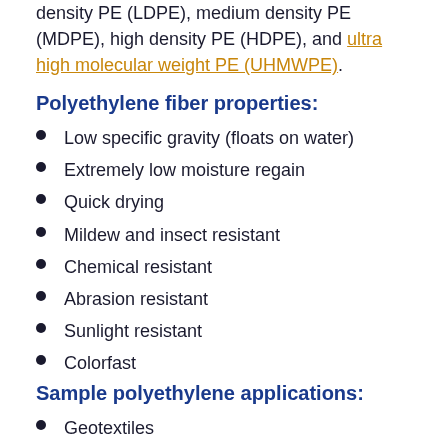density PE (LDPE), medium density PE (MDPE), high density PE (HDPE), and ultra high molecular weight PE (UHMWPE).
Polyethylene fiber properties:
Low specific gravity (floats on water)
Extremely low moisture regain
Quick drying
Mildew and insect resistant
Chemical resistant
Abrasion resistant
Sunlight resistant
Colorfast
Sample polyethylene applications:
Geotextiles